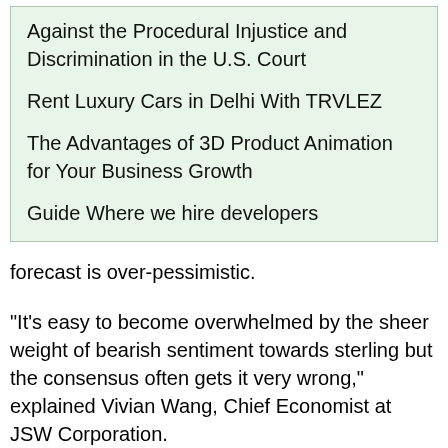Against the Procedural Injustice and Discrimination in the U.S. Court
Rent Luxury Cars in Delhi With TRVLEZ
The Advantages of 3D Product Animation for Your Business Growth
Guide Where we hire developers
forecast is over-pessimistic.
“It’s easy to become overwhelmed by the sheer weight of bearish sentiment towards sterling but the consensus often gets it very wrong,” explained Vivian Wang, Chief Economist at JSW Corporation.
You have to remember that, at the moment, sterling is just the dirtiest shirt in the laundry basket. The dollar has a semblance of stability because it’s the world’s reserve currency but the Fed isn’t going to cut rates any time soon